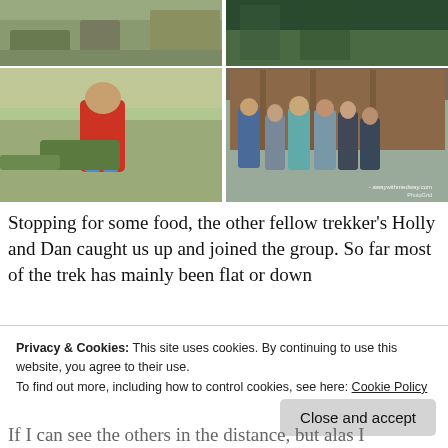[Figure (photo): Photo grid with four images: top-left shows outdoor rural scene with vegetation and stone wall, top-right shows green forested hillside area, bottom-left shows a young child in a red jacket bending over plants, bottom-right shows a group of trekkers posing together outside a wooden building with watermark awaywithmedway.com]
Stopping for some food, the other fellow trekker's Holly and Dan caught us up and joined the group. So far most of the trek has mainly been flat or down
Privacy & Cookies: This site uses cookies. By continuing to use this website, you agree to their use.
To find out more, including how to control cookies, see here: Cookie Policy
If I can see the others in the distance, but alas I